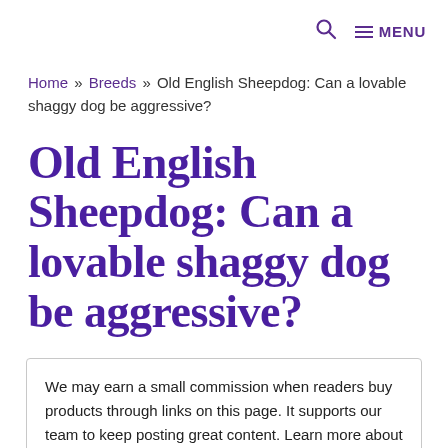🔍  ≡ MENU
Home » Breeds » Old English Sheepdog: Can a lovable shaggy dog be aggressive?
Old English Sheepdog: Can a lovable shaggy dog be aggressive?
We may earn a small commission when readers buy products through links on this page. It supports our team to keep posting great content. Learn more about this here.